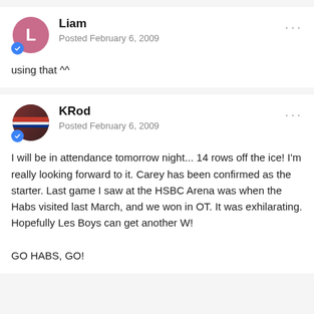Liam
Posted February 6, 2009
using that ^^
KRod
Posted February 6, 2009
I will be in attendance tomorrow night... 14 rows off the ice! I'm really looking forward to it. Carey has been confirmed as the starter. Last game I saw at the HSBC Arena was when the Habs visited last March, and we won in OT. It was exhilarating. Hopefully Les Boys can get another W!

GO HABS, GO!